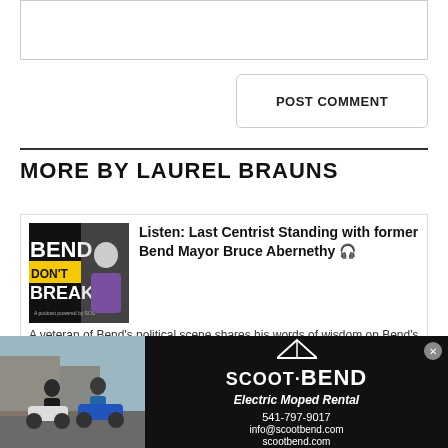[Comment textarea]
POST COMMENT
MORE BY LAUREL BRAUNS
Listen: Last Centrist Standing with former Bend Mayor Bruce Abernethy 🎧
A veteran of Bend's political scene shares his words of wisdom on Bend's leftward
[Figure (illustration): Scoot Bend advertisement banner showing electric mopeds and company contact info]
SCOOT·BEND Electric Moped Rental 541-797-9017 info@scootbend.com scootbend.com